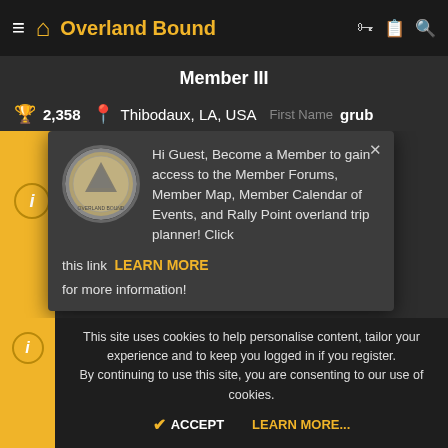Overland Bound
Member III
2,358  Thibodaux, LA, USA  First Name  grub
[Figure (screenshot): Popup modal with coin/medallion image. Text: Hi Guest, Become a Member to gain access to the Member Forums, Member Map, Member Calendar of Events, and Rally Point overland trip planner! Click this link LEARN MORE for more information!]
SN-Submarines
#32
If your in law is a man of Christian faith then he should remember some Scriptures that teach about hospitality.
This site uses cookies to help personalise content, tailor your experience and to keep you logged in if you register. By continuing to use this site, you are consenting to our use of cookies.
ACCEPT  LEARN MORE...